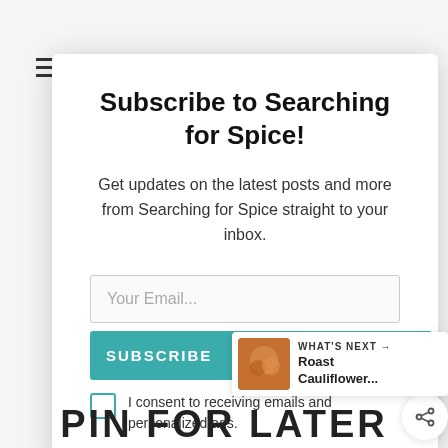Subscribe to Searching for Spice!
Get updates on the latest posts and more from Searching for Spice straight to your inbox.
Your Email...
SUBSCRIBE
I consent to receiving emails and personalized ads.
WHAT'S NEXT → Roast Cauliflower...
PIN FOR LATER